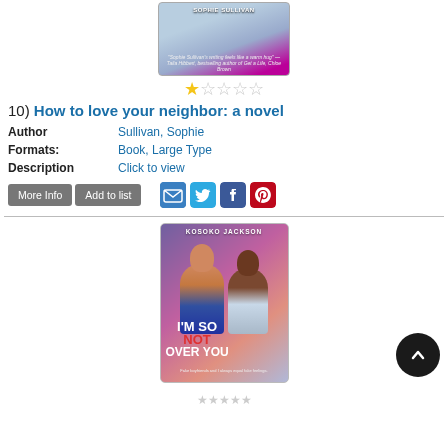[Figure (illustration): Book cover for 'How to love your neighbor' by Sophie Sullivan — pastel blue/pink cover with author name at bottom]
[Figure (other): Star rating showing 1 out of 5 stars — one filled yellow star and four empty stars]
10) How to love your neighbor: a novel
| Author | Sullivan, Sophie |
| Formats: | Book, Large Type |
| Description | Click to view |
[Figure (other): Two buttons: 'More Info' and 'Add to list', followed by social sharing icons: email, Twitter, Facebook, Pinterest]
[Figure (illustration): Book cover for "I'm So Not Over You" by Kosoko Jackson — illustrated cover showing two young men against a floral purple/pink background]
[Figure (other): Scroll-to-top button — dark circular button with upward arrow]